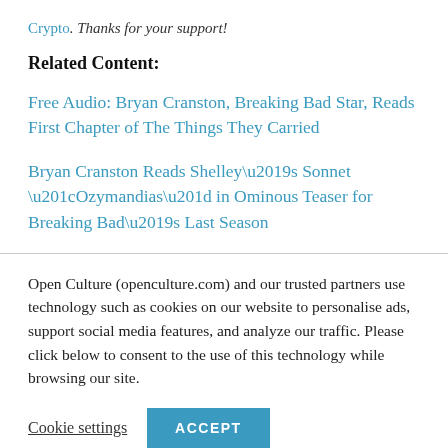Crypto. Thanks for your support!
Related Content:
Free Audio: Bryan Cranston, Breaking Bad Star, Reads First Chapter of The Things They Carried
Bryan Cranston Reads Shelley’s Sonnet “Ozymandias” in Ominous Teaser for Breaking Bad’s Last Season
Open Culture (openculture.com) and our trusted partners use technology such as cookies on our website to personalise ads, support social media features, and analyze our traffic. Please click below to consent to the use of this technology while browsing our site.
Cookie settings   ACCEPT